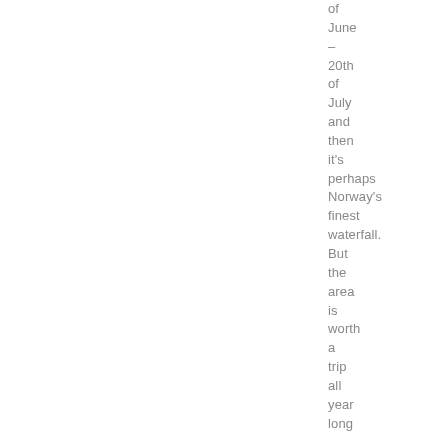of June – 20th of July and then it's perhaps Norway's finest waterfall. But the area is worth a trip all year long